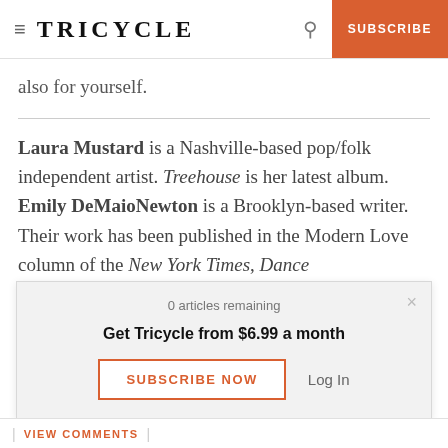TRICYCLE | SUBSCRIBE
also for yourself.
Laura Mustard is a Nashville-based pop/folk independent artist. Treehouse is her latest album. Emily DeMaioNewton is a Brooklyn-based writer. Their work has been published in the Modern Love column of the New York Times, Dance
0 articles remaining
Get Tricycle from $6.99 a month
SUBSCRIBE NOW   Log In
| VIEW COMMENTS |